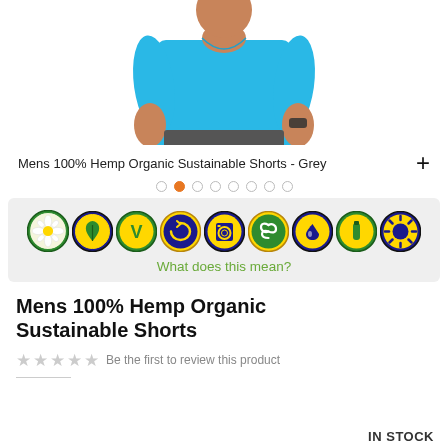[Figure (photo): Man wearing a cyan/teal blue t-shirt and grey shorts, partial torso view from waist up]
Mens 100% Hemp Organic Sustainable Shorts - Grey
[Figure (infographic): Nine circular certification/attribute badge icons representing product qualities]
What does this mean?
Mens 100% Hemp Organic Sustainable Shorts
Be the first to review this product
IN STOCK